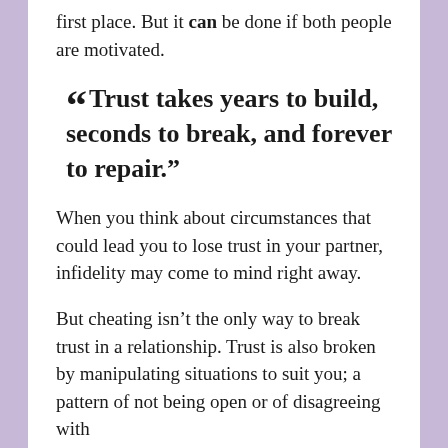first place. But it can be done if both people are motivated.
“Trust takes years to build, seconds to break, and forever to repair.”
When you think about circumstances that could lead you to lose trust in your partner, infidelity may come to mind right away.
But cheating isn’t the only way to break trust in a relationship. Trust is also broken by manipulating situations to suit you; a pattern of not being open or of disagreeing with